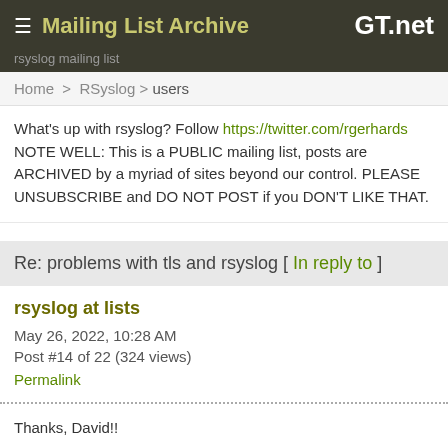≡ Mailing List Archive  GT.net
rsyslog mailing list
Home > RSyslog > users
What's up with rsyslog? Follow https://twitter.com/rgerhards NOTE WELL: This is a PUBLIC mailing list, posts are ARCHIVED by a myriad of sites beyond our control. PLEASE UNSUBSCRIBE and DO NOT POST if you DON'T LIKE THAT.
Re: problems with tls and rsyslog [ In reply to ]
rsyslog at lists
May 26, 2022, 10:28 AM
Post #14 of 22 (324 views)
Permalink
Thanks, David!!

Interesting (and pretty cool) concept. In my case I know there will always only be the 3-level hierarchy (client/forwarder/aggregator), so I'm...